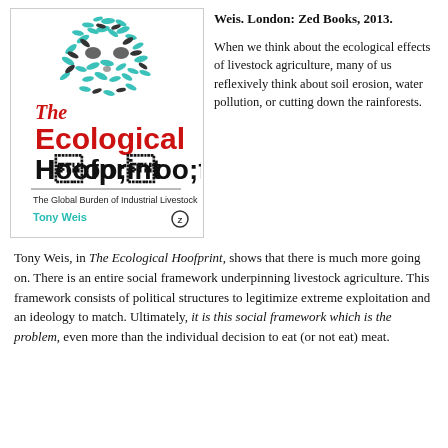[Figure (illustration): Book cover of 'The Ecological Hoofprint: The Global Burden of Industrial Livestock' by Tony Weis, published by Zed Books. Cover features an animal skull made of teal and black leaf/seed shapes at top, large red and black text for the title, subtitle in small black text, and author name in teal.]
Weis. London: Zed Books, 2013.
When we think about the ecological effects of livestock agriculture, many of us reflexively think about soil erosion, water pollution, or cutting down the rainforests.
Tony Weis, in The Ecological Hoofprint, shows that there is much more going on. There is an entire social framework underpinning livestock agriculture. This framework consists of political structures to legitimize extreme exploitation and an ideology to match. Ultimately, it is this social framework which is the problem, even more than the individual decision to eat (or not eat) meat.